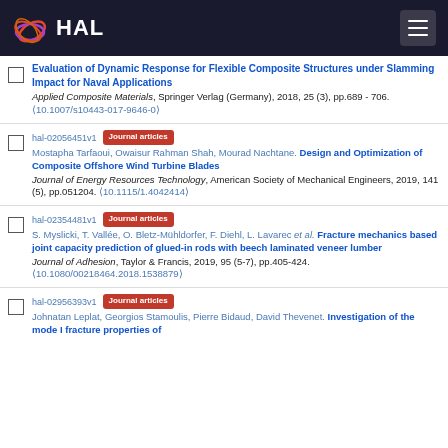HAL
Evaluation of Dynamic Response for Flexible Composite Structures under Slamming Impact for Naval Applications. Applied Composite Materials, Springer Verlag (Germany), 2018, 25 (3), pp.689 - 706. (10.1007/s10443-017-9646-0)
hal-02056451v1 Journal articles. Mostapha Tarfaoui, Owaisur Rahman Shah, Mourad Nachtane. Design and Optimization of Composite Offshore Wind Turbine Blades. Journal of Energy Resources Technology, American Society of Mechanical Engineers, 2019, 141 (5), pp.051204. (10.1115/1.4042414)
hal-02354481v1 Journal articles. S. Myslicki, T. Vallée, O. Bletz-Mühldorfer, F. Diehl, L. Lavarec et al. Fracture mechanics based joint capacity prediction of glued-in rods with beech laminated veneer lumber. Journal of Adhesion, Taylor & Francis, 2019, 95 (5-7), pp.405-424. (10.1080/00218464.2018.1538879)
hal-02956393v1 Journal articles. Johnatan Leplat, Georgios Stamoulis, Pierre Bidaud, David Thevenet. Investigation of the mode I fracture properties of